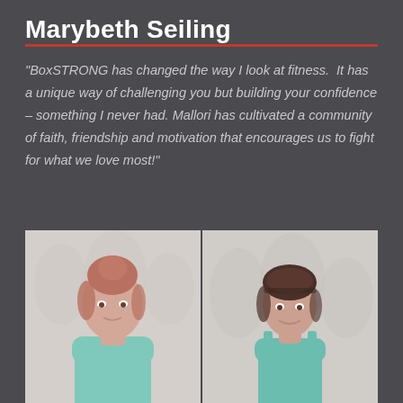Marybeth Seiling
"BoxSTRONG has changed the way I look at fitness.  It has a unique way of challenging you but building your confidence – something I never had. Mallori has cultivated a community of faith, friendship and motivation that encourages us to fight for what we love most!"
[Figure (photo): Before and after side-by-side photos of Marybeth Seiling. Left photo shows a woman with red/auburn hair up in a bun wearing a light teal tank top, standing in front of a white patterned curtain. Right photo shows the same woman with hair pulled back, wearing a teal tank top, appearing slimmer and more confident, standing in front of a similar white curtain background.]